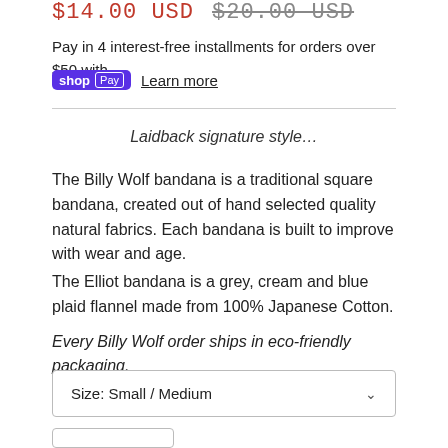$14.00 USD  $20.00 USD (strikethrough)
Pay in 4 interest-free installments for orders over $50 with
shopPay  Learn more
Laidback signature style…
The Billy Wolf bandana is a traditional square bandana, created out of hand selected quality natural fabrics. Each bandana is built to improve with wear and age.
The Elliot bandana is a grey, cream and blue plaid flannel made from 100% Japanese Cotton.
Every Billy Wolf order ships in eco-friendly packaging.
Size: Small / Medium